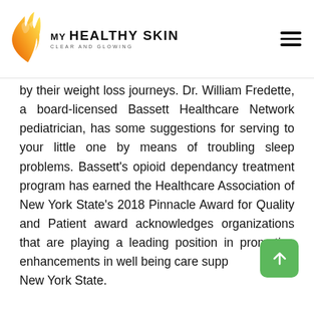MY HEALTHY SKIN CLEAR AND GLOWING
by their weight loss journeys. Dr. William Fredette, a board-licensed Bassett Healthcare Network pediatrician, has some suggestions for serving to your little one by means of troubling sleep problems. Bassett's opioid dependancy treatment program has earned the Healthcare Association of New York State's 2018 Pinnacle Award for Quality and Patient award acknowledges organizations that are playing a leading position in promoting enhancements in well being care supp New York State.
The new OR will allow Bassett's surgical